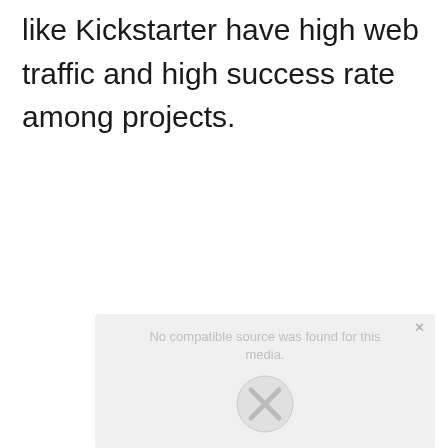like Kickstarter have high web traffic and high success rate among projects.
[Figure (other): Video player placeholder showing 'No compatible source was found for this media.' with an X icon and close button in the top right corner.]